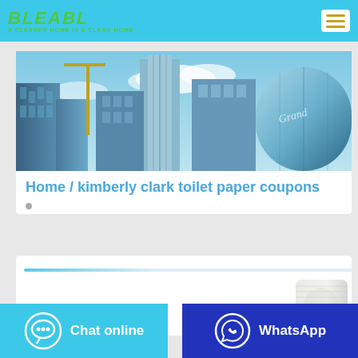BLEABL — A CLEANER HOME IS A CLEAN HOME
[Figure (photo): Upward view of glass skyscrapers against a blue sky with clouds]
Home / kimberly clark toilet paper coupons
[Figure (photo): Partial view of toilet paper roll on the right side]
[Figure (other): Chat online button with chat bubble icon]
[Figure (other): WhatsApp button with WhatsApp icon]